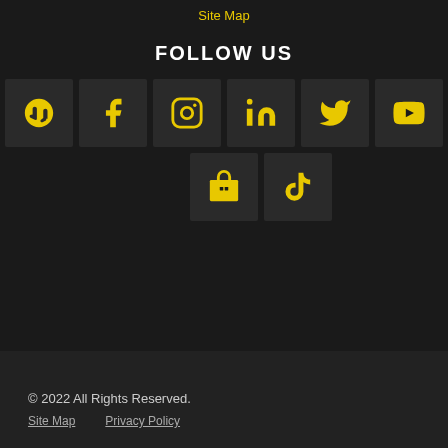Site Map
FOLLOW US
[Figure (infographic): Social media icons grid: Yelp, Facebook, Instagram, LinkedIn, Twitter, YouTube (top row); Google Business, TikTok (bottom row). Yellow icons on dark square backgrounds.]
© 2022 All Rights Reserved.
Site Map   Privacy Policy